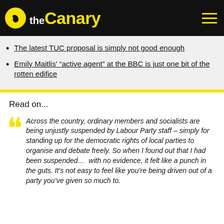theCanary
The latest TUC proposal is simply not good enough
Emily Maitlis' “active agent” at the BBC is just one bit of the rotten edifice
Read on...
Across the country, ordinary members and socialists are being unjustly suspended by Labour Party staff – simply for standing up for the democratic rights of local parties to organise and debate freely. So when I found out that I had been suspended…  with no evidence, it felt like a punch in the guts. It’s not easy to feel like you’re being driven out of a party you’ve given so much to.